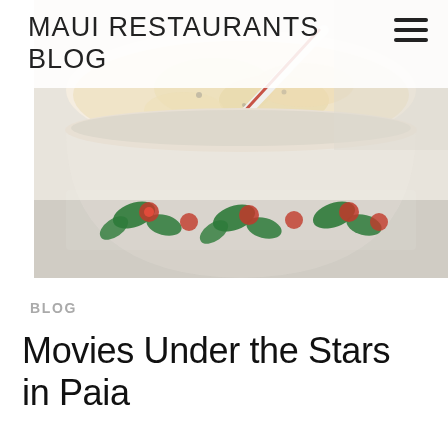MAUI RESTAURANTS BLOG
[Figure (photo): Close-up photo of a cup of creamy ice cream or frozen yogurt with a spoon, in a red and green decorated cup, on a light surface.]
BLOG
Movies Under the Stars in Paia